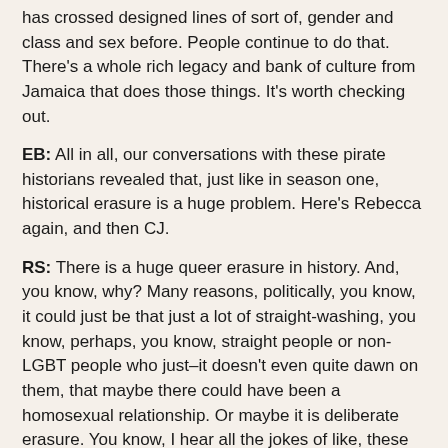has crossed designed lines of sort of, gender and class and sex before. People continue to do that. There's a whole rich legacy and bank of culture from Jamaica that does those things. It's worth checking out.
EB: All in all, our conversations with these pirate historians revealed that, just like in season one, historical erasure is a huge problem. Here's Rebecca again, and then CJ.
RS: There is a huge queer erasure in history. And, you know, why? Many reasons, politically, you know, it could just be that just a lot of straight-washing, you know, perhaps, you know, straight people or non-LGBT people who just–it doesn't even quite dawn on them, that maybe there could have been a homosexual relationship. Or maybe it is deliberate erasure. You know, I hear all the jokes of like, these two women writing love letters to each other, living together, and never having children, but they're just friends, right? And the same thing. You know, there's examples of men doing that, writing lovely letters. In fact, even for instance, I think,